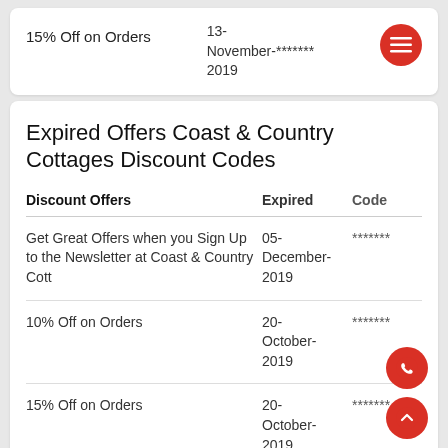15% Off on Orders
13-November-******* 2019
Expired Offers Coast & Country Cottages Discount Codes
| Discount Offers | Expired | Code |
| --- | --- | --- |
| Get Great Offers when you Sign Up to the Newsletter at Coast & Country Cott | 05-December-2019 | ******* |
| 10% Off on Orders | 20-October-2019 | ******* |
| 15% Off on Orders | 20-October-2019 | ******* |